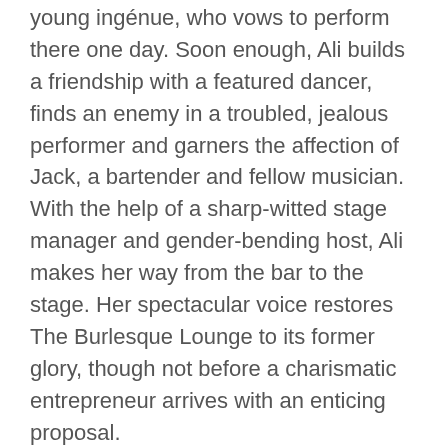young ingénue, who vows to perform there one day. Soon enough, Ali builds a friendship with a featured dancer, finds an enemy in a troubled, jealous performer and garners the affection of Jack, a bartender and fellow musician. With the help of a sharp-witted stage manager and gender-bending host, Ali makes her way from the bar to the stage. Her spectacular voice restores The Burlesque Lounge to its former glory, though not before a charismatic entrepreneur arrives with an enticing proposal.
Movie Trailers
[ad name="300×250-img-film-ad"]
Burlesque – Movie Trailer